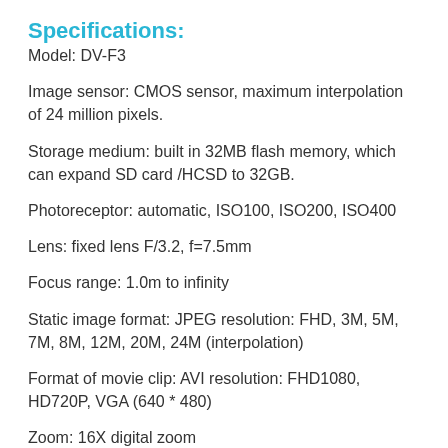Specifications:
Model: DV-F3
Image sensor: CMOS sensor, maximum interpolation of 24 million pixels.
Storage medium: built in 32MB flash memory, which can expand SD card /HCSD to 32GB.
Photoreceptor: automatic, ISO100, ISO200, ISO400
Lens: fixed lens F/3.2, f=7.5mm
Focus range: 1.0m to infinity
Static image format: JPEG resolution: FHD, 3M, 5M, 7M, 8M, 12M, 20M, 24M (interpolation)
Format of movie clip: AVI resolution: FHD1080, HD720P, VGA (640 * 480)
Zoom: 16X digital zoom
Face detection: support, face detection, smiley face photography